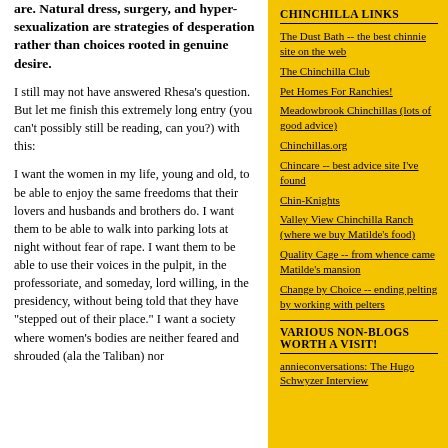are. Natural dress, surgery, and hyper-sexualization are strategies of desperation rather than choices rooted in genuine desire.
I still may not have answered Rhesa's question. But let me finish this extremely long entry (you can't possibly still be reading, can you?) with this:
I want the women in my life, young and old, to be able to enjoy the same freedoms that their lovers and husbands and brothers do. I want them to be able to walk into parking lots at night without fear of rape. I want them to be able to use their voices in the pulpit, in the professoriate, and someday, lord willing, in the presidency, without being told that they have "stepped out of their place." I want a society where women's bodies are neither feared and shrouded (ala the Taliban) nor
CHINCHILLA LINKS
The Dust Bath -- the best chinnie site on the web
The Chinchilla Club
Pet Homes For Ranchies!
Meadowbrook Chinchillas (lots of good advice)
Chinchillas.org
Chincare -- best advice site I've found
Chin-Knights
Valley View Chinchilla Ranch (where we buy Matilde's food)
Quality Cage -- from whence came Matilde's mansion
Change by Choice -- ending pelting by working with pelters
VARIOUS NON-BLOGS WORTH A VISIT!
annieconversations: The Hugo Schwyzer Interview